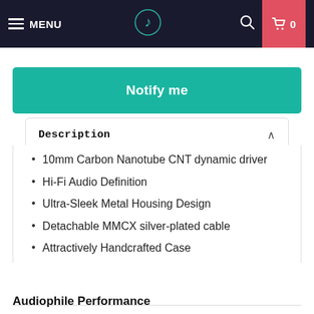MENU [logo] [search] [cart] 0
Notify me
Description
10mm Carbon Nanotube CNT dynamic driver
Hi-Fi Audio Definition
Ultra-Sleek Metal Housing Design
Detachable MMCX silver-plated cable
Attractively Handcrafted Case
Audiophile Performance